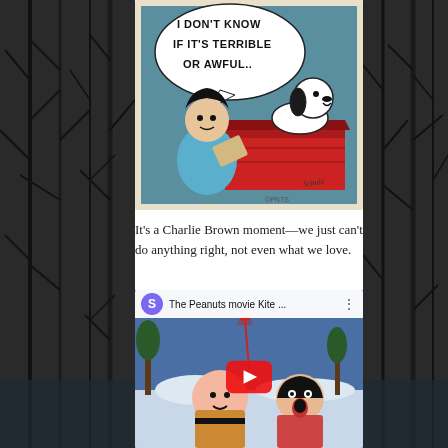[Figure (illustration): Peanuts comic strip panel showing Lucy reading a paper to Snoopy who sits on his red doghouse. Speech bubble reads: 'I DON'T KNOW IF IT'S TERRIBLE OR AWFUL..' with copyright PNTS and Schulz signature.]
It's a Charlie Brown moment—we just can't do anything right, not even what we love.
[Figure (screenshot): YouTube video embed thumbnail showing The Peanuts Movie kite scene with Charlie Brown and Lucy characters in snow. Video title: 'The Peanuts movie Kite ...' with a purple S avatar and YouTube play button overlay.]